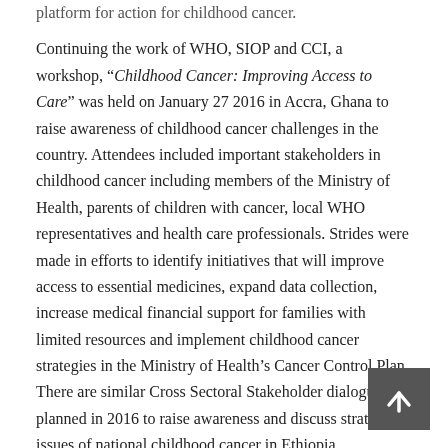platform for action for childhood cancer.
Continuing the work of WHO, SIOP and CCI, a workshop, “Childhood Cancer: Improving Access to Care” was held on January 27 2016 in Accra, Ghana to raise awareness of childhood cancer challenges in the country. Attendees included important stakeholders in childhood cancer including members of the Ministry of Health, parents of children with cancer, local WHO representatives and health care professionals. Strides were made in efforts to identify initiatives that will improve access to essential medicines, expand data collection, increase medical financial support for families with limited resources and implement childhood cancer strategies in the Ministry of Health’s Cancer Control Plan. There are similar Cross Sectoral Stakeholder dialogues planned in 2016 to raise awareness and discuss strategic issues of national childhood cancer in Ethiopia,